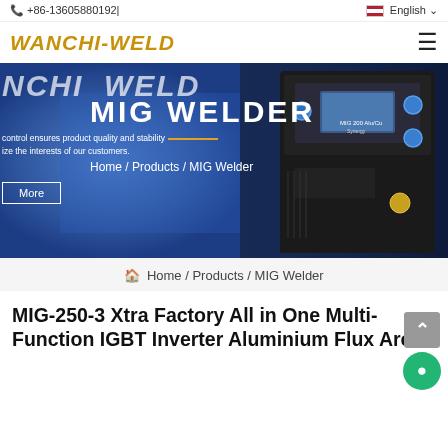+86-13605880192 | English
[Figure (logo): WANCHI-WELD logo in italic bold golden/orange text]
[Figure (photo): Hero banner showing a welder working in blue light and a MIG 200 Alu/Cu Synergy welding machine on the right, with overlay text: NCHI WELD, MIG WELDER, control ensures product quality and stability, ize the interests of our customers, Home / Products / MIG Welder, More button]
Home / Products / MIG Welder
MIG-250-3 Xtra Factory All in One Multi-Function IGBT Inverter Aluminium Flux Arc